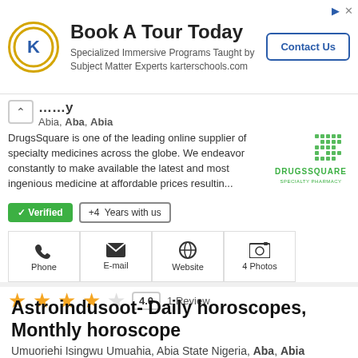[Figure (illustration): Advertisement banner for Karter Schools with logo, 'Book A Tour Today' headline, subtext, and Contact Us button]
Abia, Aba, Abia
DrugsSquare is one of the leading online supplier of specialty medicines across the globe. We endeavor constantly to make available the latest and most ingenious medicine at affordable prices resultin...
[Figure (logo): DrugsSquare Specialty Pharmacy logo]
✓ Verified  +4  Years with us
Phone   E-mail   Website   4 Photos
4.0   1 Review
Astroindusoot- Daily horoscopes, Monthly horoscope
Umuoriehi Isingwu Umuahia, Abia State Nigeria, Aba, Abia